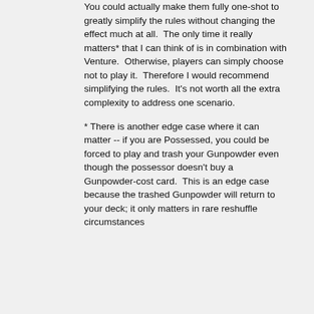You could actually make them fully one-shot to greatly simplify the rules without changing the effect much at all.  The only time it really matters* that I can think of is in combination with Venture.  Otherwise, players can simply choose not to play it.  Therefore I would recommend simplifying the rules.  It's not worth all the extra complexity to address one scenario.
* There is another edge case where it can matter -- if you are Possessed, you could be forced to play and trash your Gunpowder even though the possessor doesn't buy a Gunpowder-cost card.  This is an edge case because the trashed Gunpowder will return to your deck; it only matters in rare reshuffle circumstances